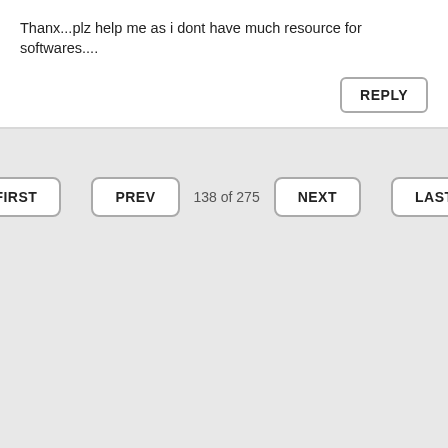Thanx...plz help me as i dont have much resource for softwares....
REPLY
FIRST  PREV  138 of 275  NEXT  LAST